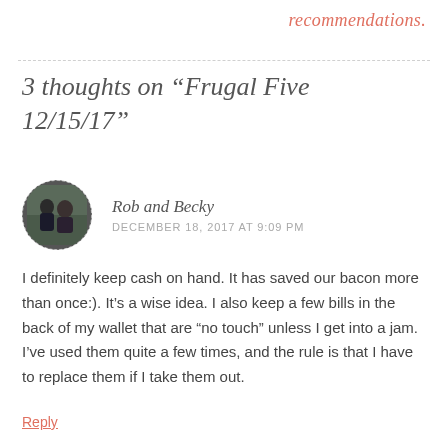recommendations.
3 thoughts on “Frugal Five 12/15/17”
[Figure (photo): Circular avatar photo of Rob and Becky, two people, outdoors]
Rob and Becky
DECEMBER 18, 2017 AT 9:09 PM
I definitely keep cash on hand. It has saved our bacon more than once:). It’s a wise idea. I also keep a few bills in the back of my wallet that are “no touch” unless I get into a jam. I’ve used them quite a few times, and the rule is that I have to replace them if I take them out.
Reply